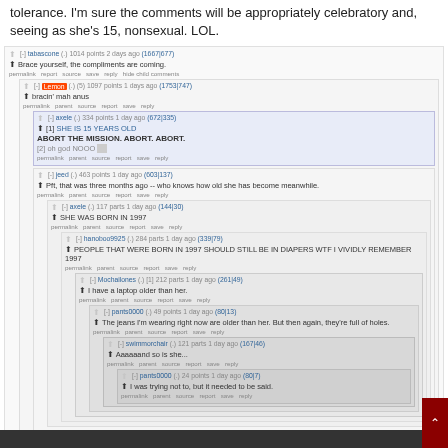tolerance. I'm sure the comments will be appropriately celebratory and, seeing as she's 15, nonsexual. LOL.
[Figure (screenshot): Reddit comment thread showing nested comments about a 15-year-old. Top comment by tabascone: 'Brace yourself, the compliments are coming.' Nested reply by Lemon: 'bracin' mah anus'. Further nested reply by axele: '[1] SHE IS 15 YEARS OLD ABORT THE MISSION. ABORT. ABORT. [2] oh god NOOO'. Reply by jeed: 'Pft, that was three months ago -- who knows how old she has become meanwhile.' Reply by axele: 'SHE WAS BORN IN 1997'. Reply by hanoboo9925: 'PEOPLE THAT WERE BORN IN 1997 SHOULD STILL BE IN DIAPERS WTF I VIVIDLY REMEMBER 1997'. Reply by Mochailones: 'I have a laptop older than her.' Reply by pants0000: 'The jeans I'm wearing right now are older than her. But then again, they're full of holes.' Reply by swimmorchair: 'Aaaaaand so is she...' Reply by pants0000: 'I was trying not to, but it needed to be said.']